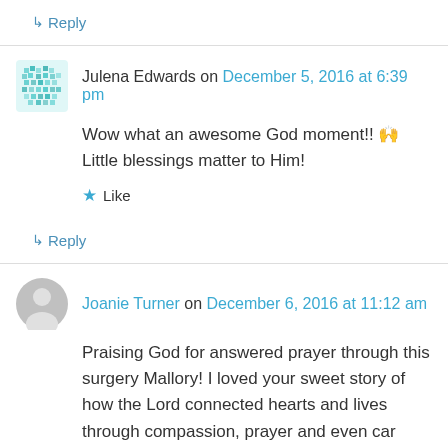↳ Reply
Julena Edwards on December 5, 2016 at 6:39 pm
Wow what an awesome God moment!! 🙌 Little blessings matter to Him!
★ Like
↳ Reply
Joanie Turner on December 6, 2016 at 11:12 am
Praising God for answered prayer through this surgery Mallory! I loved your sweet story of how the Lord connected hearts and lives through compassion, prayer and even car accidents.